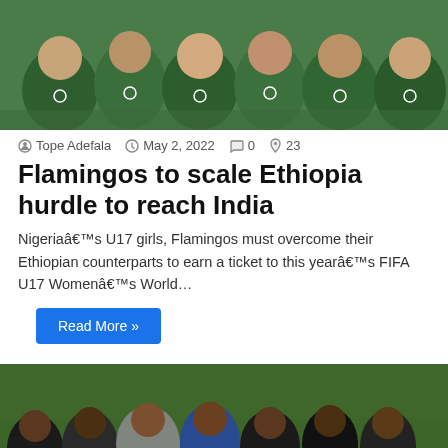[Figure (photo): Group photo of young girls in green Nigeria football jerseys, youth team photo on a football pitch]
Tope Adefala  May 2, 2022  0  23
Flamingos to scale Ethiopia hurdle to reach India
Nigeria’s U17 girls, Flamingos must overcome their Ethiopian counterparts to earn a ticket to this year’s FIFA U17 Women’s World…
Read More »
[Figure (photo): Group photo of Nigerian football team staff and players in green Naija jerseys, posing together on a stadium pitch]